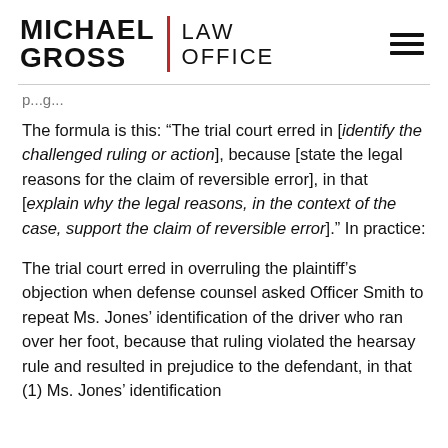MICHAEL GROSS LAW OFFICE
p...g...
The formula is this: “The trial court erred in [identify the challenged ruling or action], because [state the legal reasons for the claim of reversible error], in that [explain why the legal reasons, in the context of the case, support the claim of reversible error].” In practice:
The trial court erred in overruling the plaintiff’s objection when defense counsel asked Officer Smith to repeat Ms. Jones’ identification of the driver who ran over her foot, because that ruling violated the hearsay rule and resulted in prejudice to the defendant, in that (1) Ms. Jones’ identification